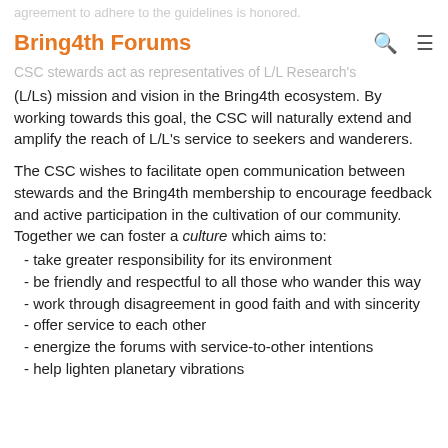agreement to adhere to the guidelines is honored.
Bring4th Forums
CSC stewards act as representatives of L/L Research's (L/Ls) mission and vision in the Bring4th ecosystem. By working towards this goal, the CSC will naturally extend and amplify the reach of L/L's service to seekers and wanderers.
The CSC wishes to facilitate open communication between stewards and the Bring4th membership to encourage feedback and active participation in the cultivation of our community. Together we can foster a culture which aims to:
- take greater responsibility for its environment
- be friendly and respectful to all those who wander this way
- work through disagreement in good faith and with sincerity
- offer service to each other
- energize the forums with service-to-other intentions
- help lighten planetary vibrations